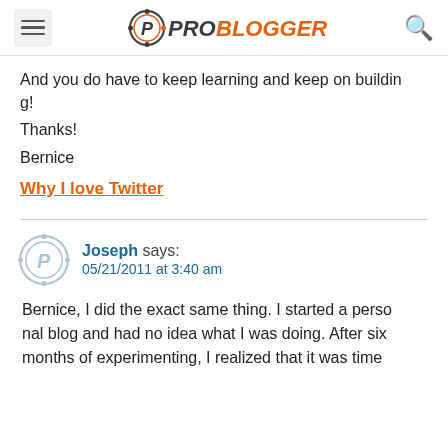ProBlogger
And you do have to keep learning and keep on building!
Thanks!
Bernice
Why I love Twitter
Joseph says: 05/21/2011 at 3:40 am
Bernice, I did the exact same thing. I started a personal blog and had no idea what I was doing. After six months of experimenting, I realized that it was time